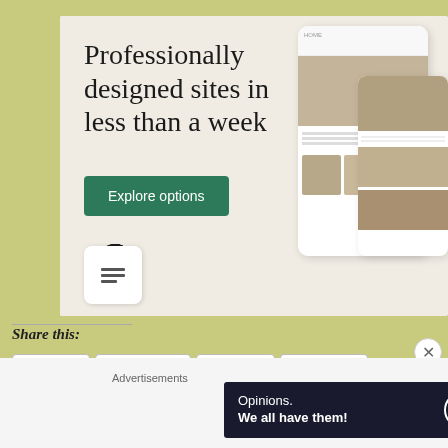[Figure (infographic): WordPress advertisement: 'Professionally designed sites in less than a week' with Explore options button, WordPress logo, and mockup screens showing food website design on olive/cream background]
Share this:
Twitter
Facebook
Tumblr
LinkedIn
Reddit
Email
Pinterest
Advertisements
[Figure (infographic): WordPress/BlogHome advertisement banner: 'Opinions. We all have them!' with WordPress logo and circular BlogHome logo on dark navy background]